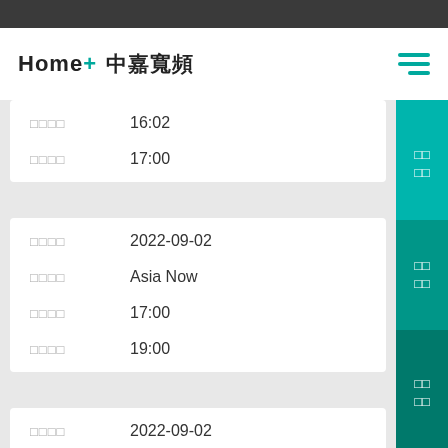Home+ 中嘉寬頻
| 欄位 | 值 |
| --- | --- |
| □□□□ | 16:02 |
| □□□□ | 17:00 |
| 欄位 | 值 |
| --- | --- |
| □□□□ | 2022-09-02 |
| □□□□ | Asia Now |
| □□□□ | 17:00 |
| □□□□ | 19:00 |
| 欄位 | 值 |
| --- | --- |
| □□□□ | 2022-09-02 |